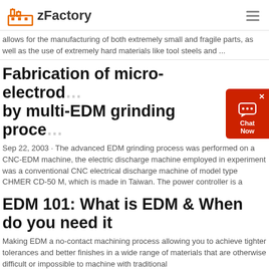zFactory
allows for the manufacturing of both extremely small and fragile parts, as well as the use of extremely hard materials like tool steels and ...
Fabrication of micro-electrodes by multi-EDM grinding process
Sep 22, 2003 · The advanced EDM grinding process was performed on a CNC-EDM machine, the electric discharge machine employed in experiment was a conventional CNC electrical discharge machine of model type CHMER CD-50 M, which is made in Taiwan. The power controller is a
EDM 101: What is EDM & When do you need it
Making EDM a no-contact machining process allowing you to achieve tighter tolerances and better finishes in a wide range of materials that are otherwise difficult or impossible to machine with traditional